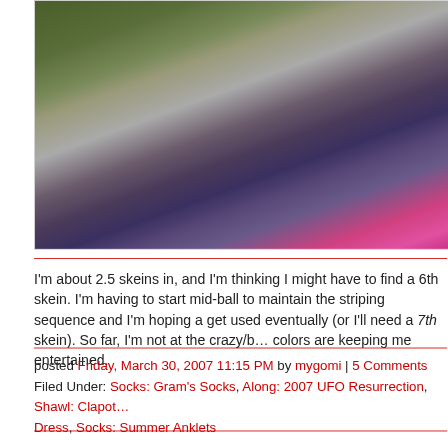[Figure (photo): A knitted striped item (socks or shawl) lying on grass, showing multicolored stripes including pink/magenta, purple, gray, and yellow/green bands.]
I'm about 2.5 skeins in, and I'm thinking I might have to find a 6th skein. I'm having to start mid-ball to maintain the striping sequence and I'm hoping a get used eventually (or I'll need a 7th skein). So far, I'm not at the crazy/bo colors are keeping me entertained.
posted Friday, March 30, 2007 11:15 PM by mygomi | 5 Comments
Filed Under: Socks: Gram's Socks, Along: 2007 UFO Resurrection, Shawl: Clapot Dress, Socks: Summer Anklets
We're a coupla geeks
Thanks for the nice comments on the shawl! It feels totally weird because thinking I might be the only that liked it. But I'll take it.
I think we've established that I'm in many ways a geek. It should therefore that Scott is one too.
Most of us are content to buy PC's that come assembled, that only require hear bleeps and blips. Not Scott. He scours the 'net for information, caref with his budget (he saves his monthly budget for big upgrades, while fritti